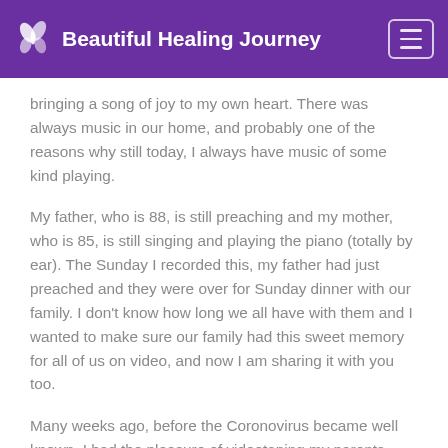Beautiful Healing Journey
bringing a song of joy to my own heart. There was always music in our home, and probably one of the reasons why still today, I always have music of some kind playing.
My father, who is 88, is still preaching and my mother, who is 85, is still singing and playing the piano (totally by ear). The Sunday I recorded this, my father had just preached and they were over for Sunday dinner with our family. I don't know how long we all have with them and I wanted to make sure our family had this sweet memory for all of us on video, and now I am sharing it with you too.
Many weeks ago, before the Coronovirus became well known, I had the pleasure of videotaping my parents singing the hymn "It Is Well With My Soul." This hymn was written by Horatio G. Spafford in 1883.
The story behind this hymn is heartbreaking, touching, but so full of inspiration and hope. it has been a family